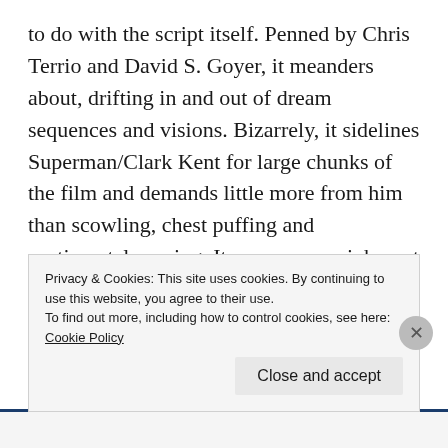to do with the script itself. Penned by Chris Terrio and David S. Goyer, it meanders about, drifting in and out of dream sequences and visions. Bizarrely, it sidelines Superman/Clark Kent for large chunks of the film and demands little more from him than scowling, chest puffing and sentimental moping. It presumes an inherent familiarity between the audience and Cavill's Superman, forgetting that he is not yet the character whom the audience knows and loves. The film talks about him as the kind of superhero gentle enough to save a kitten from a tree, but this is a side it never actually shows. Throughout the whole two-and-a-half
Privacy & Cookies: This site uses cookies. By continuing to use this website, you agree to their use.
To find out more, including how to control cookies, see here: Cookie Policy
Close and accept